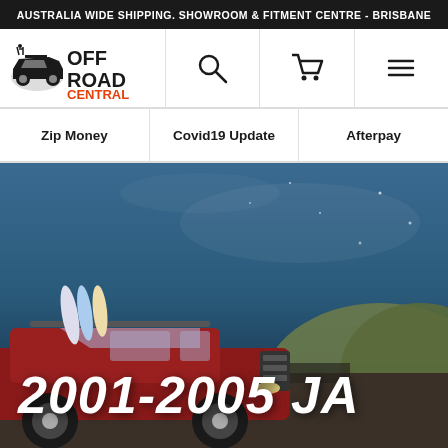AUSTRALIA WIDE SHIPPING. SHOWROOM & FITMENT CENTRE - BRISBANE
[Figure (logo): Off Road Central logo with black 4WD silhouette, OFF ROAD text in black and CENTRAL in orange/red]
[Figure (other): Search icon (magnifying glass)]
[Figure (other): Shopping cart icon]
[Figure (other): Hamburger menu icon (three horizontal lines)]
Zip Money
Covid19 Update
Afterpay
[Figure (photo): Red SUV/4WD with surfboards on roof rack, driving outdoors with blue sky and vegetation in background]
2001-2005 JA